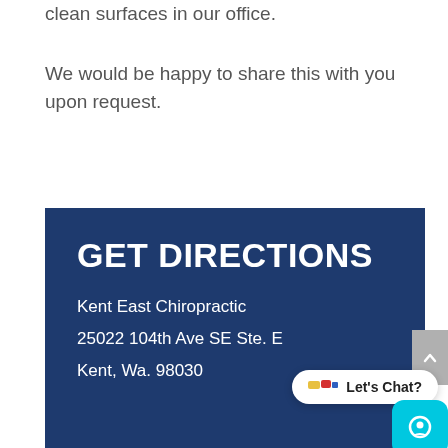clean surfaces in our office.
We would be happy to share this with you upon request.
GET DIRECTIONS
Kent East Chiropractic
25022 104th Ave SE Ste. E
Kent, Wa. 98030